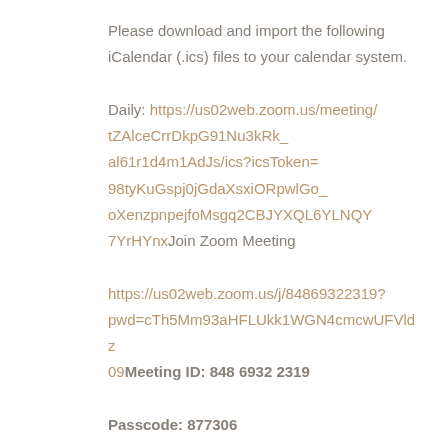Please download and import the following iCalendar (.ics) files to your calendar system. Daily: https://us02web.zoom.us/meeting/tZAlceCrrDkpG91Nu3kRk_al61r1d4m1AdJs/ics?icsToken=98tyKuGspj0jGdaXsxiORpwlGo_oXenzpnpejfoMsgq2CBJYXQL6YLNQYCBJYXQLhYnxJoin Zoom Meeting https://us02web.zoom.us/j/84869322319?pwd=cTh5Mm93aHFLUkk1WGN4cmcwUFVldz09Meeting ID: 848 6932 2319 Passcode: 877306